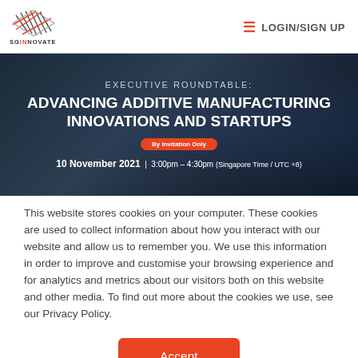[Figure (logo): SGInnovate logo with geometric cross-hatch design in red, grey and dark colors, with SGINNOVATE text below]
LOGIN/SIGN UP
[Figure (infographic): Executive Roundtable: Advancing Additive Manufacturing Innovations and Startups. By Invitation Only. 10 November 2021 | 3:00pm – 4:30pm (Singapore Time / UTC +8)]
This website stores cookies on your computer. These cookies are used to collect information about how you interact with our website and allow us to remember you. We use this information in order to improve and customise your browsing experience and for analytics and metrics about our visitors both on this website and other media. To find out more about the cookies we use, see our Privacy Policy.
Accept